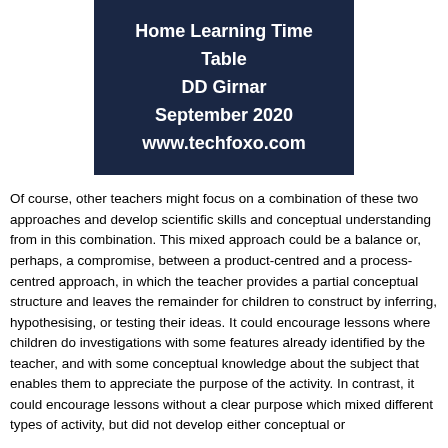Home Learning Time Table
DD Girnar
September 2020
www.techfoxo.com
Of course, other teachers might focus on a combination of these two approaches and develop scientific skills and conceptual understanding from in this combination. This mixed approach could be a balance or, perhaps, a compromise, between a product-centred and a process-centred approach, in which the teacher provides a partial conceptual structure and leaves the remainder for children to construct by inferring, hypothesising, or testing their ideas. It could encourage lessons where children do investigations with some features already identified by the teacher, and with some conceptual knowledge about the subject that enables them to appreciate the purpose of the activity. In contrast, it could encourage lessons without a clear purpose which mixed different types of activity, but did not develop either conceptual or